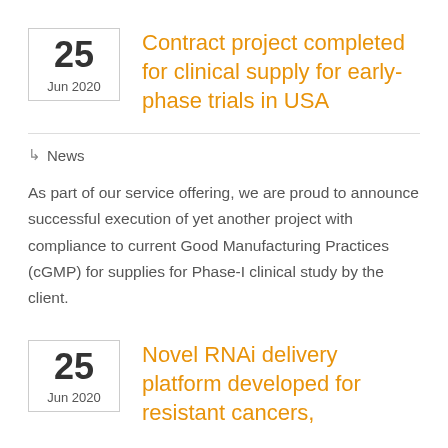Contract project completed for clinical supply for early-phase trials in USA
News
As part of our service offering, we are proud to announce successful execution of yet another project with compliance to current Good Manufacturing Practices (cGMP) for supplies for Phase-I clinical study by the client.
Novel RNAi delivery platform developed for resistant cancers,